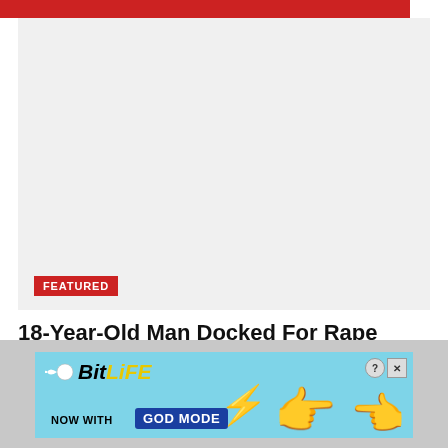[Figure (photo): Featured image placeholder with light gray background]
FEATURED
18-Year-Old Man Docked For Rape
AUGUST 19, 2022
[Figure (infographic): BitLife advertisement: NOW WITH GOD MODE]